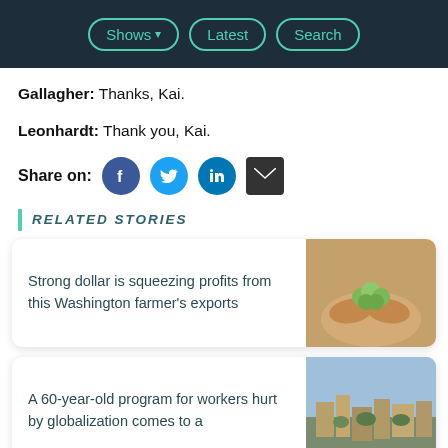Shows | Latest | Search
Gallagher: Thanks, Kai.
Leonhardt: Thank you, Kai.
Share on: [Facebook] [Twitter] [LinkedIn] [Email]
RELATED STORIES
Strong dollar is squeezing profits from this Washington farmer's exports
[Figure (photo): Hands holding green hops]
A 60-year-old program for workers hurt by globalization comes to a
[Figure (photo): Aerial view of a town]